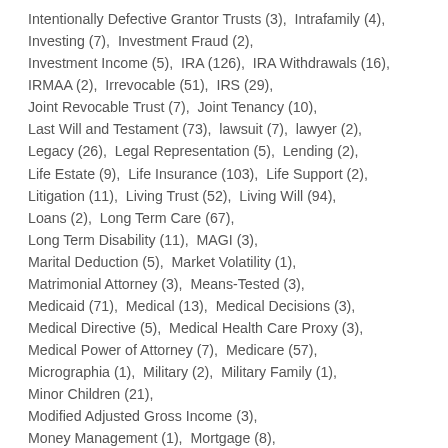Intentionally Defective Grantor Trusts (3),  Intrafamily (4),  Investing (7),  Investment Fraud (2),  Investment Income (5),  IRA (126),  IRA Withdrawals (16),  IRMAA (2),  Irrevocable (51),  IRS (29),  Joint Revocable Trust (7),  Joint Tenancy (10),  Last Will and Testament (73),  lawsuit (7),  lawyer (2),  Legacy (26),  Legal Representation (5),  Lending (2),  Life Estate (9),  Life Insurance (103),  Life Support (2),  Litigation (11),  Living Trust (52),  Living Will (94),  Loans (2),  Long Term Care (67),  Long Term Disability (11),  MAGI (3),  Marital Deduction (5),  Market Volatility (1),  Matrimonial Attorney (3),  Means-Tested (3),  Medicaid (71),  Medical (13),  Medical Decisions (3),  Medical Directive (5),  Medical Health Care Proxy (3),  Medical Power of Attorney (7),  Medicare (57),  Micrographia (1),  Military (2),  Military Family (1),  Minor Children (21),  Modified Adjusted Gross Income (3),  Money Management (1),  Mortgage (8),  Multiple Sclerosis (1),  Music (1),  Negligence (1),  NIIT (1),  No-Consent Clause (2),  Nursing Home (38),